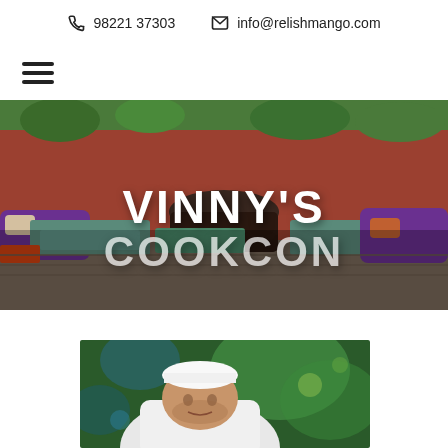📞 98221 37303   ✉ info@relishmango.com
[Figure (photo): Restaurant outdoor seating area with colorful tables, benches, purple cushions, and plants against a red wall. Text overlay reads VINNY'S and partially visible text below.]
[Figure (photo): A chef in a white uniform and cap leaning over, working, with bokeh green and blue background.]